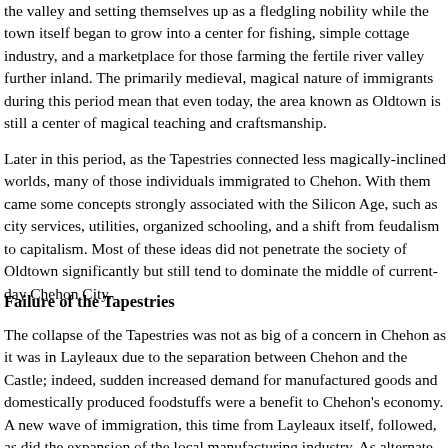the valley and setting themselves up as a fledgling nobility while the town itself began to grow into a center for fishing, simple cottage industry, and a marketplace for those farming the fertile river valley further inland. The primarily medieval, magical nature of immigrants during this period mean that even today, the area known as Oldtown is still a center of magical teaching and craftsmanship.
Later in this period, as the Tapestries connected less magically-inclined worlds, many of those individuals immigrated to Chehon. With them came some concepts strongly associated with the Silicon Age, such as city services, utilities, organized schooling, and a shift from feudalism to capitalism. Most of these ideas did not penetrate the society of Oldtown significantly but still tend to dominate the middle of current-day Chehon City.
Failure of the Tapestries
The collapse of the Tapestries was not as big of a concern in Chehon as it was in Layleaux due to the separation between Chehon and the Castle; indeed, sudden increased demand for manufactured goods and domestically produced foodstuffs were a benefit to Chehon's economy. A new wave of immigration, this time from Layleaux itself, followed, as did the expansion of the local manufacturing industry. As alternate forms of cross-world transportation began to relieve the